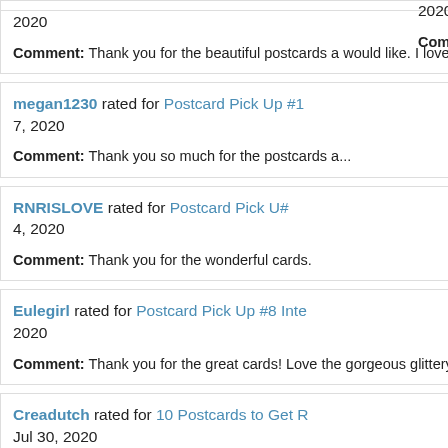2020

Comment: Thank you for the beautiful postcards a... would like. I love happy mail :) hope all is well in G...
megan1230 rated for Postcard Pick Up #1... 7, 2020

Comment: Thank you so much for the postcards a...
RNRISLOVE rated for Postcard Pick Up #... 4, 2020

Comment: Thank you for the wonderful cards.
Eulegirl rated for Postcard Pick Up #8 Inte... 2020

Comment: Thank you for the great cards! Love the... gorgeous glittery tea stickers too!
Creadutch rated for 10 Postcards to Get R... Jul 30, 2020